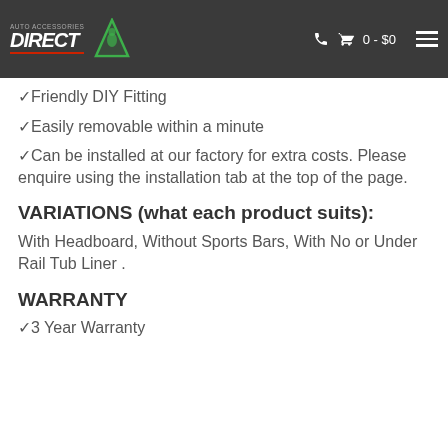DIRECT (auto accessories) | 0 - $0
✓Friendly DIY Fitting
✓Easily removable within a minute
✓Can be installed at our factory for extra costs. Please enquire using the installation tab at the top of the page.
VARIATIONS (what each product suits):
With Headboard, Without Sports Bars, With No or Under Rail Tub Liner .
WARRANTY
✓3 Year Warranty